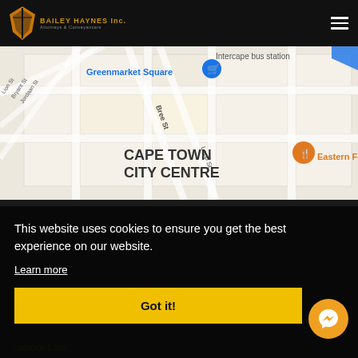[Figure (logo): Bailey Haynes Inc. logo with orange diamond shape and text 'Attorneys & Conveyancers']
[Figure (map): Google Maps screenshot showing Cape Town City Centre area with Greenmarket Square, Eastern Food Bazaar, Intercape bus station, and street names (Lion St, Bryant St, Jordaan St, Bree St, Loop St)]
This website uses cookies to ensure you get the best experience on our website.
Learn more
Got it!
Labour Law